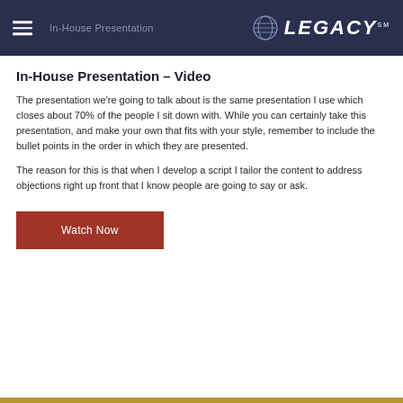Legacy — In-House Presentation
In-House Presentation – Video
The presentation we're going to talk about is the same presentation I use which closes about 70% of the people I sit down with. While you can certainly take this presentation, and make your own that fits with your style, remember to include the bullet points in the order in which they are presented.
The reason for this is that when I develop a script I tailor the content to address objections right up front that I know people are going to say or ask.
Watch Now